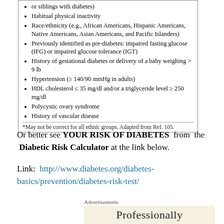Habitual physical inactivity
Race/ethnicity (e.g., African Americans, Hispanic Americans, Native Americans, Asian Americans, and Pacific Islanders)
Previously identified as pre-diabetes: impaired fasting glucose (IFG) or impaired glucose tolerance (IGT)
History of gestational diabetes or delivery of a baby weighing > 9 lb
Hypertension (≥ 140/90 mmHg in adults)
HDL cholesterol ≤ 35 mg/dl and/or a triglyceride level ≥ 250 mg/dl
Polycystic ovary syndrome
History of vascular disease
*May not be correct for all ethnic groups. Adapted from Ref. 105.
Or better see YOUR RISK OF DIABETES from the Diabetic Risk Calculator at the link below.
Link: http://www.diabetes.org/diabetes-basics/prevention/diabetes-risk-test/
Advertisements
Professionally